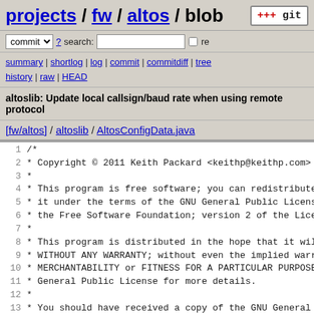projects / fw / altos / blob
commit ? search: re
summary | shortlog | log | commit | commitdiff | tree history | raw | HEAD
altoslib: Update local callsign/baud rate when using remote protocol
[fw/altos] / altoslib / AltosConfigData.java
1  /*
2   * Copyright © 2011 Keith Packard <keithp@keithp.com>
3   *
4   * This program is free software; you can redistribute
5   * it under the terms of the GNU General Public License
6   * the Free Software Foundation; version 2 of the Licen
7   *
8   * This program is distributed in the hope that it will
9   * WITHOUT ANY WARRANTY; without even the implied warra
10  * MERCHANTABILITY or FITNESS FOR A PARTICULAR PURPOSE.
11  * General Public License for more details.
12  *
13  * You should have received a copy of the GNU General P
14  * with this program; if not, write to the Free Softwar
15  * 59 Temple Place, Suite 330, Boston, MA 02111-1307 US
16  */
17
18 package org.altusmetrum.altoslib_5;